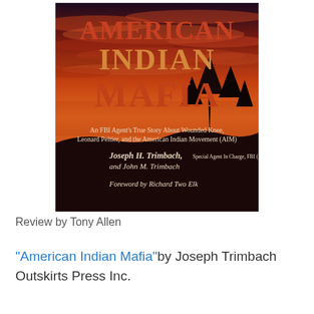[Figure (illustration): Book cover of 'American Indian Mafia' showing a dramatic red and orange sunset sky with silhouetted trees. Title text in large serif letters reads 'AMERICAN INDIAN MAFIA'. Subtitle: 'An FBI Agent's True Story About Wounded Knee, Leonard Peltier, and the American Indian Movement (AIM)'. Authors: Joseph H. Trimbach, Special Agent In Charge, FBI (Retired) and John M. Trimbach. Foreword by Richard Two Elk.]
Review by Tony Allen
"American Indian Mafia" by Joseph Trimbach Outskirts Press Inc.